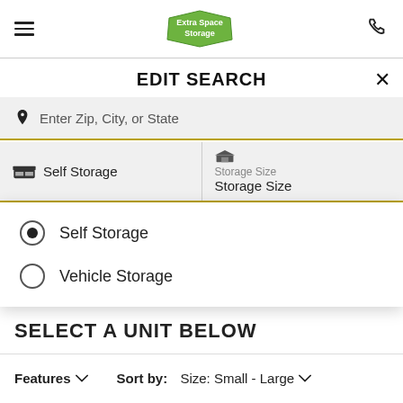[Figure (logo): Extra Space Storage logo - green hexagon badge with white text]
EDIT SEARCH
Enter Zip, City, or State
Self Storage
Storage Size
Storage Size
Self Storage (selected radio button)
Vehicle Storage
SELECT A UNIT BELOW
Features ∨   Sort by: Size: Small - Large ∨